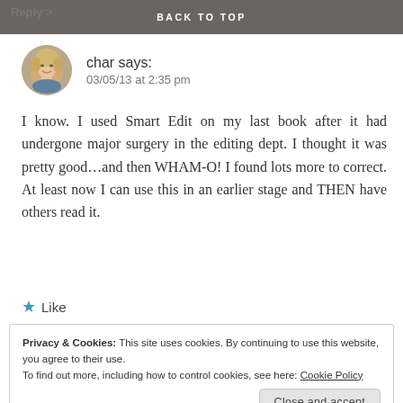BACK TO TOP
Reply >
[Figure (photo): Circular avatar photo of a blonde woman]
char says:
03/05/13 at 2:35 pm
I know. I used Smart Edit on my last book after it had undergone major surgery in the editing dept. I thought it was pretty good...and then WHAM-O! I found lots more to correct. At least now I can use this in an earlier stage and THEN have others read it.
★ Like
Privacy & Cookies: This site uses cookies. By continuing to use this website, you agree to their use.
To find out more, including how to control cookies, see here: Cookie Policy
Close and accept